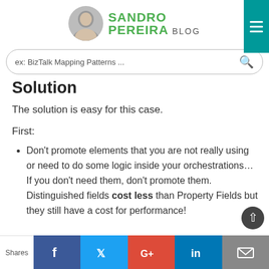SANDRO PEREIRA BLOG
ex: BizTalk Mapping Patterns ...
Solution
The solution is easy for this case.
First:
Don’t promote elements that you are not really using or need to do some logic inside your orchestrations… If you don’t need them, don’t promote them. Distinguished fields cost less than Property Fields but they still have a cost for performance!
Shares